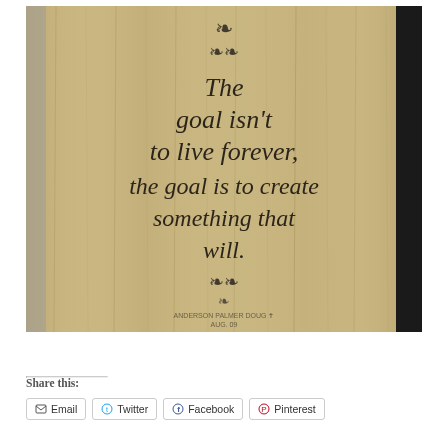[Figure (photo): A photograph of a wooden plank with burned/engraved calligraphic text reading: 'The goal isn't to live forever, the goal is to create something that will.' with decorative floral/scroll ornaments above and below the text.]
Share this:
Email
Twitter
Facebook
Pinterest